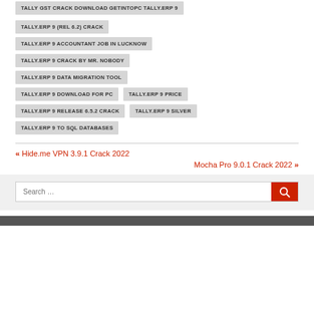TALLY GST CRACK DOWNLOAD GETINTOPC TALLY.ERP 9
TALLY.ERP 9 (REL 6.2) CRACK
TALLY.ERP 9 ACCOUNTANT JOB IN LUCKNOW
TALLY.ERP 9 CRACK BY MR. NOBODY
TALLY.ERP 9 DATA MIGRATION TOOL
TALLY.ERP 9 DOWNLOAD FOR PC
TALLY.ERP 9 PRICE
TALLY.ERP 9 RELEASE 6.5.2 CRACK
TALLY.ERP 9 SILVER
TALLY.ERP 9 TO SQL DATABASES
« Hide.me VPN 3.9.1 Crack 2022
Mocha Pro 9.0.1 Crack 2022 »
Search …